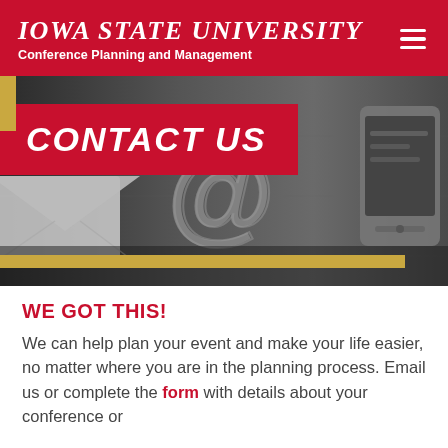Iowa State University – Conference Planning and Management
[Figure (photo): Hero image showing communication/email icons including an envelope, @ symbol, and smartphone on a dark surface, with a red 'CONTACT US' banner overlay and a gold horizontal bar]
WE GOT THIS!
We can help plan your event and make your life easier, no matter where you are in the planning process. Email us or complete the form with details about your conference or